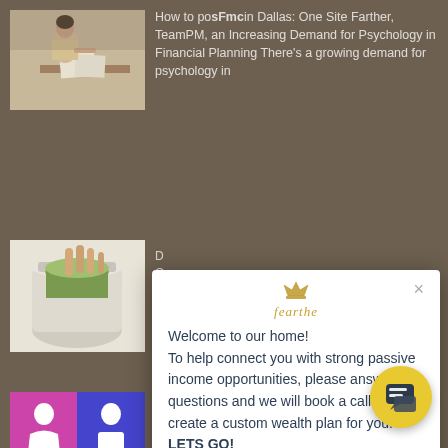[Figure (photo): Person sitting at desk reviewing documents in an office setting]
How to Earn in Dallas: One Site Farther, TeamPM, an Increasing Demand for Psychology in Financial Planning There's a growing demand for psychology in
[Figure (photo): Hands holding rolled up dollar bills over a glass jar]
D... O... re... ja... m... U... L...
[Figure (photo): Gender icons - female figure on pink/purple background, male figure on blue background]
W... M... A... financial literacy as compared to men, but they know
[Figure (photo): Partial photo at bottom left corner]
[Figure (screenshot): Modal popup with welcome message about passive income opportunities. Contains logo 'fearthe', close button X, and text: Welcome to our home! To help connect you with strong passive income opportunities, please answer 2 questions and we will book a call to create a custom wealth plan for you! LETS GO!]
Welcome to our home!
To help connect you with strong passive income opportunities, please answer 2 questions and we will book a call to create a custom wealth plan for you!
LETS GO!